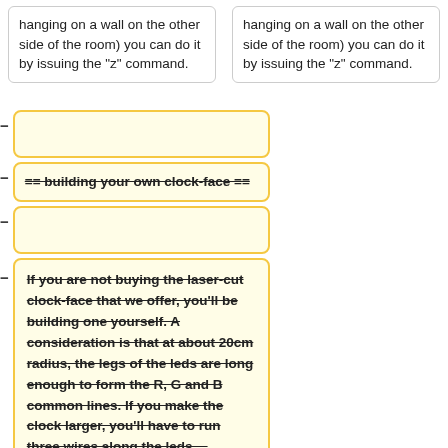hanging on a wall on the other side of the room) you can do it by issuing the "z" command.
hanging on a wall on the other side of the room) you can do it by issuing the "z" command.
== building your own clock-face ==
If you are not buying the laser-cut clock-face that we offer, you'll be building one yourself. A consideration is that at about 20cm radius, the legs of the leds are long enough to form the R, G and B common lines. If you make the clock larger, you'll have to run three wires along the leds....